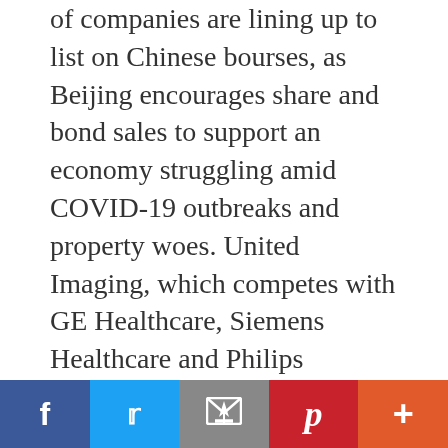of companies are lining up to list on Chinese bourses, as Beijing encourages share and bond sales to support an economy struggling amid COVID-19 outbreaks and property woes. United Imaging, which competes with GE Healthcare, Siemens Healthcare and Philips Healthcare, benefited from … [Read more...]
Filed Under: Uncategorized
storage unit images, kitchen unit images, gold star marketing, gold star market, manchester united images, which known as the biggest stars in the universe, which is known as the biggest star in the
Facebook | Twitter | Email | Pinterest | More